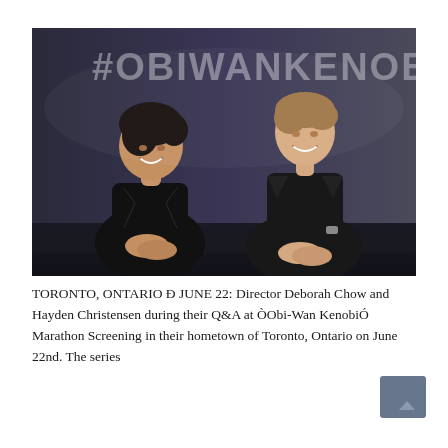[Figure (photo): Two people seated on a dark stage in front of a large banner reading '#OBIWANKENOB'. On the left is a woman with dark hair wearing a black outfit, smiling. On the right is a tall man with light brown hair wearing a dark blazer, also smiling. The background is a gradient of dark blue-grey to purple. This appears to be a Q&A panel event.]
TORONTO, ONTARIO Ð JUNE 22: Director Deborah Chow and Hayden Christensen during their Q&A at ÒObi-Wan KenobiÓ Marathon Screening in their hometown of Toronto, Ontario on June 22nd. The series